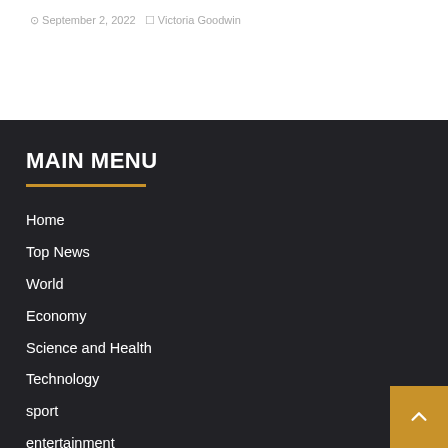September 2, 2022 · Victoria Goodwin
MAIN MENU
Home
Top News
World
Economy
Science and Health
Technology
sport
entertainment
Contact Form
Divulgation d'affiliation